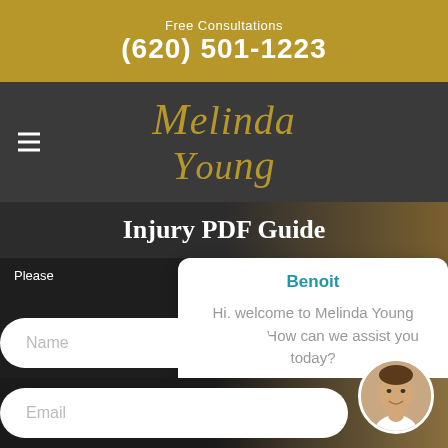Free Consultations
(620) 501-1223
[Figure (logo): Melinda Young law firm logo in gold italic serif font on dark gray navigation bar]
Injury PDF Guide
Please
Benoit
Hi, welcome to Melinda Young website. How can we assist you today?
Name
Email
DOWNLOAD